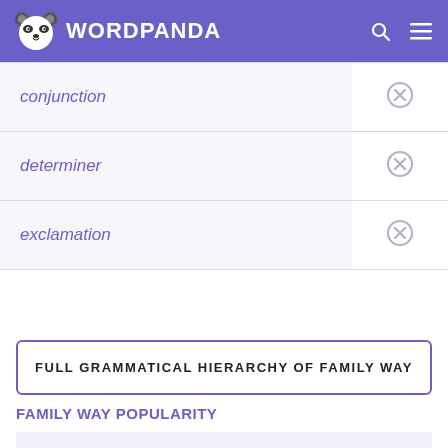WORDPANDA
|  |  |
| --- | --- |
| conjunction | ✕ |
| determiner | ✕ |
| exclamation | ✕ |
FULL GRAMMATICAL HIERARCHY OF FAMILY WAY
FAMILY WAY POPULARITY
[Figure (other): Empty chart placeholder area for Family Way popularity graph]